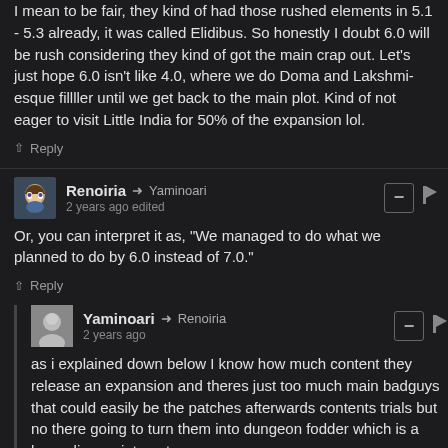I mean to be fair, they kind of had those rushed elements in 5.1 - 5.3 already, it was called Elidibus. So honestly I doubt 6.0 will be rush considering they kind of got the main crap out. Let's just hope 6.0 isn't like 4.0, where we do Doma and Lakshmi-esque fillller until we get back to the main plot. Kind of not eager to visit Little India for 50% of the expansion lol.
↑ Reply
Renoiria → Yaminoari
2 years ago edited
Or, you can interpret it as, "We managed to do what we planned to do by 6.0 instead of 7.0."
↑ Reply
Yaminoari → Renoiria
2 years ago
as i explained down below I know how much content they release an expansion and theres just too much main badguys that could easily be the patches afterwards contents trials but no there going to turn them into dungeon fodder which is a huge disappointment